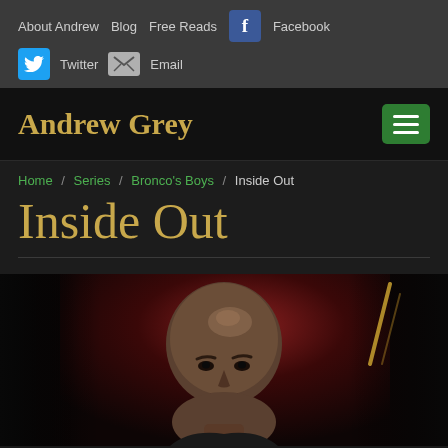About Andrew  Blog  Free Reads  Facebook  Twitter  Email
Andrew Grey
Home / Series / Bronco's Boys / Inside Out
Inside Out
[Figure (photo): Book cover or promotional photo showing a bald man looking intensely at the camera, against a dark red/dramatic background with a gold diagonal line accent]